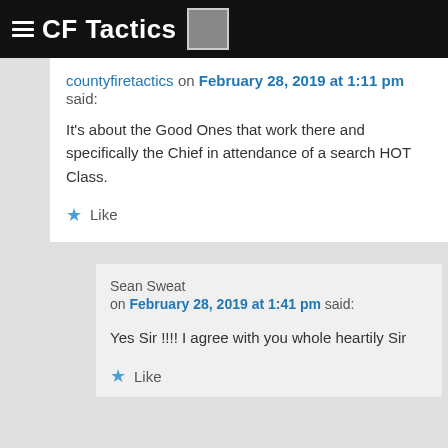CF Tactics
countyfiretactics on February 28, 2019 at 1:11 pm said:
It's about the Good Ones that work there and specifically the Chief in attendance of a search HOT Class.
Like
Sean Sweat on February 28, 2019 at 1:41 pm said:
Yes Sir !!!! I agree with you whole heartily Sir
Like